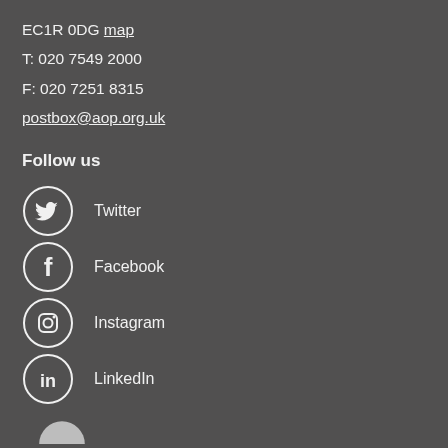EC1R 0DG map
T: 020 7549 2000
F: 020 7251 8315
postbox@aop.org.uk
Follow us
Twitter
Facebook
Instagram
LinkedIn